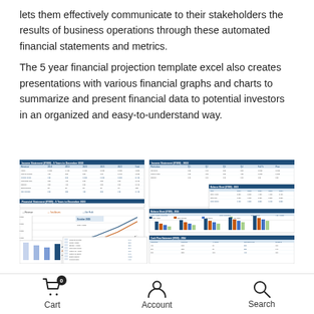lets them effectively communicate to their stakeholders the results of business operations through these automated financial statements and metrics.
The 5 year financial projection template excel also creates presentations with various financial graphs and charts to summarize and present financial data to potential investors in an organized and easy-to-understand way.
[Figure (screenshot): Screenshot of a 5 year financial projection Excel template showing multiple spreadsheet panels with balance sheets, income statements, and financial charts including line charts. Headers are dark blue with white text.]
Cart 0   Account   Search